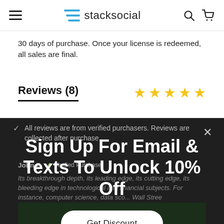stacksocial
30 days of purchase. Once your license is redeemed, all sales are final.
Reviews (8)
All reviews are from verified purchasers. Reviews are collected after purchase.
Sign Up For Email & Texts To Unlock 10% Off
Get Discount
John E.
Its breakthrough depth, its leading edge, its cutting edge, its bleeding edge in technological and financial subjects. For instance, computer science, data sco... Wall Stree
VIEW SIMILAR ITEMS